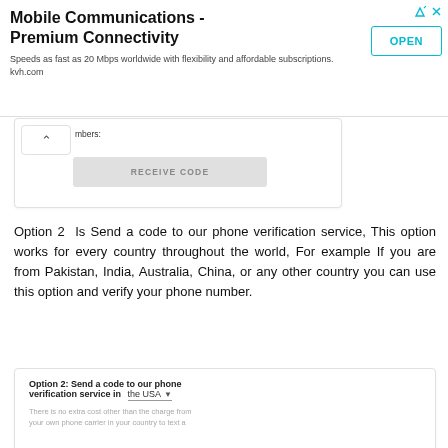[Figure (screenshot): Advertisement banner for Mobile Communications - Premium Connectivity by kvh.com with an OPEN button]
[Figure (screenshot): UI card showing a collapsed section with a chevron and a greyed-out RECEIVE CODE button]
Option 2  Is Send a code to our phone verification service, This option works for every country throughout the world, For example If you are from Pakistan, India, Australia, China, or any other country you can use this option and verify your phone number.
[Figure (screenshot): UI card showing Option 2: Send a code to our phone verification service in the USA (dropdown), with note about no extra cost]